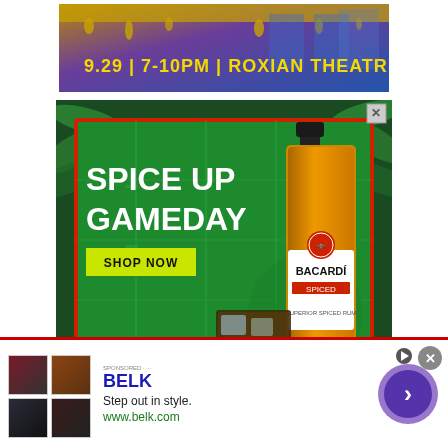[Figure (photo): Top banner advertisement for an event at Roxian Theatre on 9.29 from 7-10PM, with gold and purple background showing a venue]
[Figure (photo): Bacardi Spiced rum advertisement with tropical leaves background, green football field background, text 'SPICE UP GAMEDAY', 'SHOP NOW' button, Bacardi bottle, and iced drink]
[Figure (photo): Belk clothing store advertisement banner with product thumbnails, BELK logo, tagline 'Step out in style.', URL www.belk.com, and navigation arrow button]